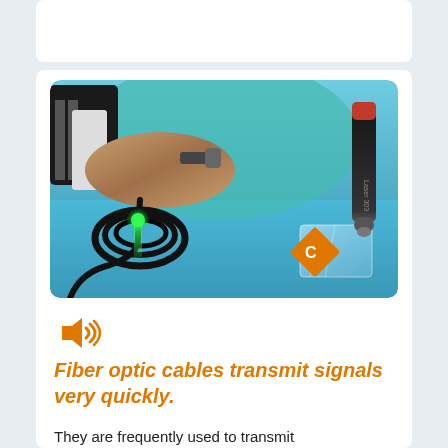[Figure (photo): A person holding a fiber optic cable connector with a coiled black cable on a blue table. A green laser light glows at the cable end. A laser pointer pen and a glass block are on the right side. An orange diamond-shaped brand logo is visible.]
[Figure (other): Orange speaker/audio icon indicating audio content]
Fiber optic cables transmit signals very quickly.
They are frequently used to transmit